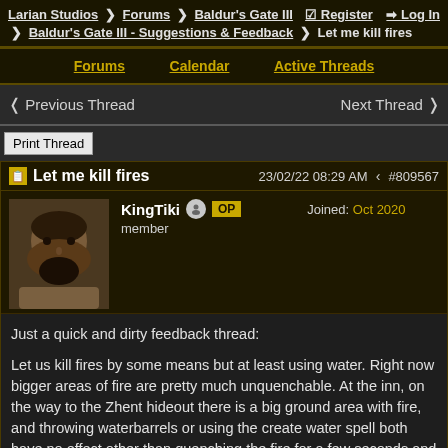Larian Studios > Forums > Baldur's Gate III > Baldur's Gate III - Suggestions & Feedback > Let me kill fires | Register | Log In
Forums   Calendar   Active Threads
◄ Previous Thread   Next Thread ►
Print Thread
Let me kill fires
23/02/22 08:29 AM  #809567
KingTiki  OP  member  Joined: Oct 2020
Just a quick and dirty feedback thread:

Let us kill fires by some means but at least using water. Right now bigger areas of fire are pretty much unquenchable. At the inn, on the way to the Zhent hideout there is a big ground area with fire, and throwing waterbarrels or using the create water spell both have no effect other than quenching the fire for a few seconds and also generating steam.

Also for smaller fires: Prestidigitation and other cantrips.